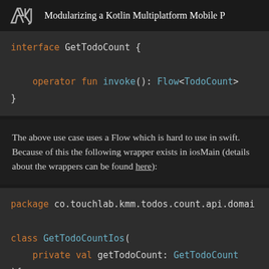Modularizing a Kotlin Multiplatform Mobile P
interface GetTodoCount {
    operator fun invoke(): Flow<TodoCount>
}
The above use case uses a Flow which is hard to use in swift. Because of this the following wrapper exists in iosMain (details about the wrappers can be found here):
package co.touchlab.kmm.todos.count.api.domai

class GetTodoCountIos(
    private val getTodoCount: GetTodoCount
){

    [... invoke() Flow<TodoCount>